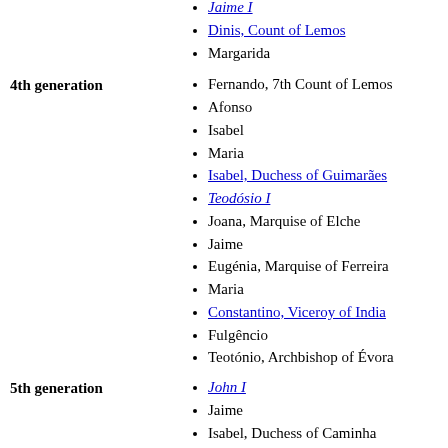Jaime I
Dinis, Count of Lemos
Margarida
4th generation
Fernando, 7th Count of Lemos
Afonso
Isabel
Maria
Isabel, Duchess of Guimarães
Teodósio I
Joana, Marquise of Elche
Jaime
Eugénia, Marquise of Ferreira
Maria
Constantino, Viceroy of India
Fulgêncio
Teotónio, Archbishop of Évora
5th generation
John I
Jaime
Isabel, Duchess of Caminha
Maria
Serefina
Teodósio II
Duarte, 1st Marquise of Frechilla